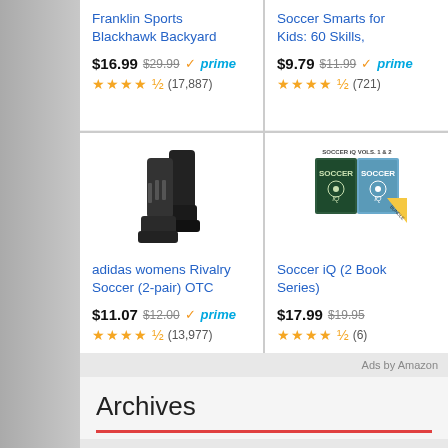Franklin Sports Blackhawk Backyard
$16.99 $29.99 ✓prime ★★★★☆ (17,887)
Soccer Smarts for Kids: 60 Skills,
$9.79 $11.99 ✓prime ★★★★☆ (721)
[Figure (photo): Black adidas soccer socks (2-pair)]
adidas womens Rivalry Soccer (2-pair) OTC
$11.07 $12.00 ✓prime ★★★★☆ (13,977)
[Figure (photo): Soccer iQ Vols. 1 & 2 book covers]
Soccer iQ (2 Book Series)
$17.99 $19.95 ★★★★☆ (6)
Ads by Amazon
Archives